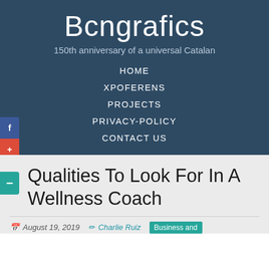Bcngrafics
150th anniversary of a universal Catalan
HOME
XPOFERENS
PROJECTS
PRIVACY-POLICY
CONTACT US
Qualities To Look For In A Wellness Coach
August 19, 2019   Charlie Ruiz   Business and